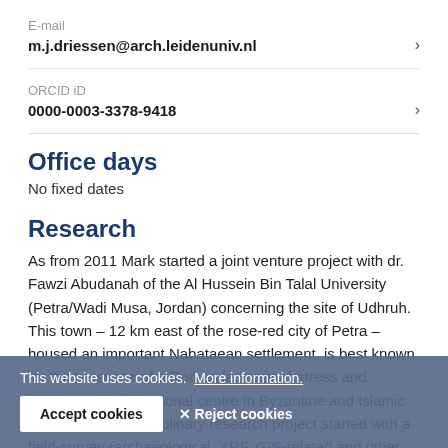E-mail
m.j.driessen@arch.leidenuniv.nl
ORCID iD
0000-0003-3378-9418
Office days
No fixed dates
Research
As from 2011 Mark started a joint venture project with dr. Fawzi Abudanah of the Al Hussein Bin Talal University (Petra/Wadi Musa, Jordan) concerning the site of Udhruh. This town – 12 km east of the rose-red city of Petra – housed an important Nabataean settlement, is best known for the presence of a Roman legionary fortress and became a major regional centre in Byzantine and Islamic times. The interdisciplinary research project started with a field-survey (archaeological, XRF, GIS-related and other activities) before shifting to (early) Medieval and
This website uses cookies.  More information.
Accept cookies
✕ Reject cookies